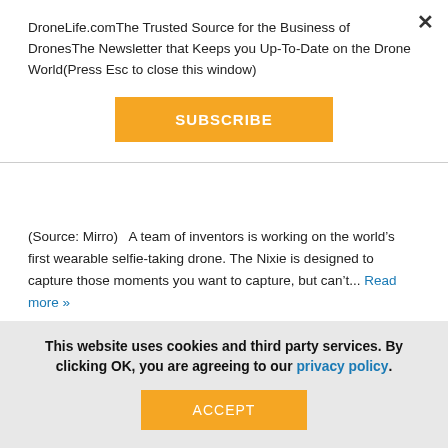DroneLife.comThe Trusted Source for the Business of DronesThe Newsletter that Keeps you Up-To-Date on the Drone World(Press Esc to close this window)
[Figure (other): Orange SUBSCRIBE button]
(Source: Mirro)   A team of inventors is working on the world's first wearable selfie-taking drone. The Nixie is designed to capture those moments you want to capture, but can't... Read more »
This website uses cookies and third party services. By clicking OK, you are agreeing to our privacy policy.
[Figure (other): Orange ACCEPT button]